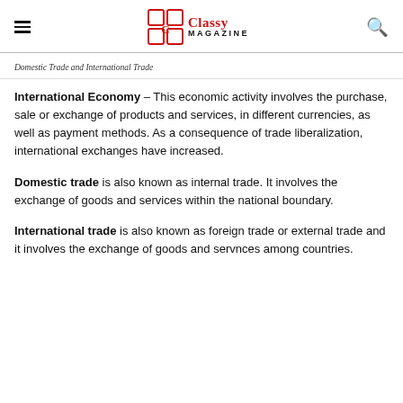Classy Magazine
Domestic Trade and International Trade
International Economy – This economic activity involves the purchase, sale or exchange of products and services, in different currencies, as well as payment methods. As a consequence of trade liberalization, international exchanges have increased.
Domestic trade is also known as internal trade. It involves the exchange of goods and services within the national boundary.
International trade is also known as foreign trade or external trade and it involves the exchange of goods and servnces among countries.